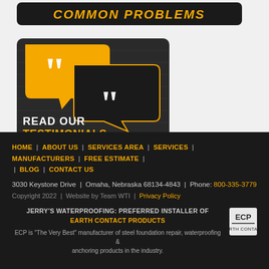[Figure (illustration): Dark rounded rectangle banner with orange italic bold uppercase text 'COMMON PROBLEMS']
[Figure (illustration): Dark textured square graphic with two speech bubbles (orange and black), white quotation marks, and text 'READ OUR TESTIMONIALS' in white and orange bold uppercase letters]
HOME | ABOUT US | SERVICES AREA | SERVICES | MANUFACTURERS | FREE ESTIMATE | BLOG | CONTACT US
3030 Keystone Drive | Omaha, Nebraska 68134-4843 | Phone: 800-335-3779
Copyright 2022 | Website by Team WTI | Privacy Policy
JERRY'S WATERPROOFING: PREFERRED INSTALLER OF EARTH CONTACT PRODUCTS
ECP is "The Very Best" manufacturer of steel foundation repair, waterproofing & anchoring products in the industry.